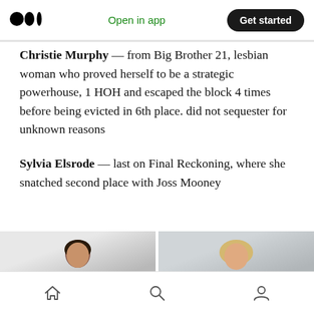Medium logo | Open in app | Get started
Christie Murphy — from Big Brother 21, lesbian woman who proved herself to be a strategic powerhouse, 1 HOH and escaped the block 4 times before being evicted in 6th place. did not sequester for unknown reasons
Sylvia Elsrode — last on Final Reckoning, where she snatched second place with Joss Mooney
[Figure (photo): Two cropped photos side by side: left shows a dark-haired woman, right shows a blonde woman]
Bottom navigation bar with home, search, and profile icons